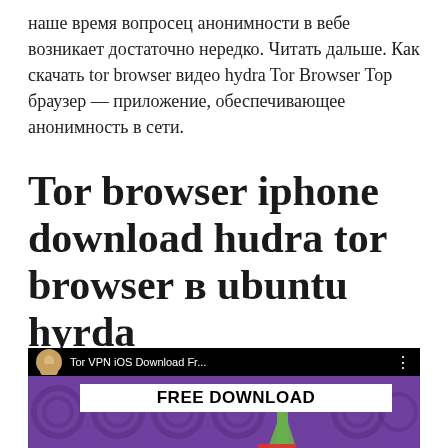наше время вопросец анонимности в вебе возникает достаточно нередко. Читать дальше. Как скачать tor browser видео hydra Tor Browser Тор браузер — приложение, обеспечивающее анонимность в сети.
Tor browser iphone download hudra tor browser в ubuntu hyrda
Tor VPN iOS Download Free 😊 Tips for getting Tor VPN Premium Free on iOS Android!!
[Figure (screenshot): YouTube video thumbnail showing a purple background with onion patterns, a female avatar icon, title text 'Tor VPN iOS Download Fr...' in white on black bar, and 'FREE DOWNLOAD' text in bold black on white box, with a green arrow graphic at bottom.]